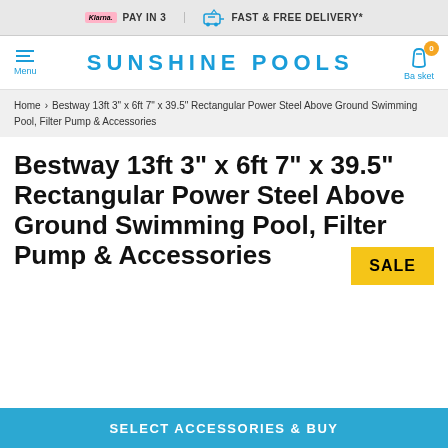PAY IN 3 | FAST & FREE DELIVERY*
SUNSHINE POOLS
Home > Bestway 13ft 3" x 6ft 7" x 39.5" Rectangular Power Steel Above Ground Swimming Pool, Filter Pump & Accessories
Bestway 13ft 3" x 6ft 7" x 39.5" Rectangular Power Steel Above Ground Swimming Pool, Filter Pump & Accessories
SALE
SELECT ACCESSORIES & BUY